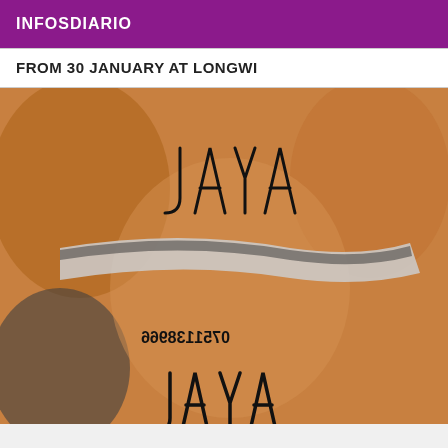INFOSDIARIO
FROM 30 JANUARY AT LONGWI
[Figure (photo): A close-up photograph with handwritten text 'JAYA' and a mirrored phone number '0751138966' written on skin, with a patterned fabric/underwear visible.]